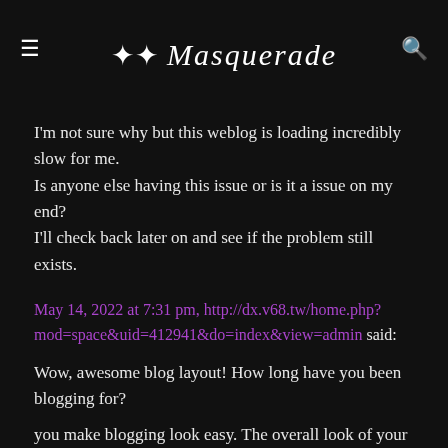≡ Masquerade 🔍
I'm not sure why but this weblog is loading incredibly slow for me. Is anyone else having this issue or is it a issue on my end? I'll check back later on and see if the problem still exists.
May 14, 2022 at 7:31 pm, http://dx.v68.tw/home.php?mod=space&uid=412941&do=index&view=admin said:
Wow, awesome blog layout! How long have you been blogging for?
you make blogging look easy. The overall look of your website is excellent, let alone the content!